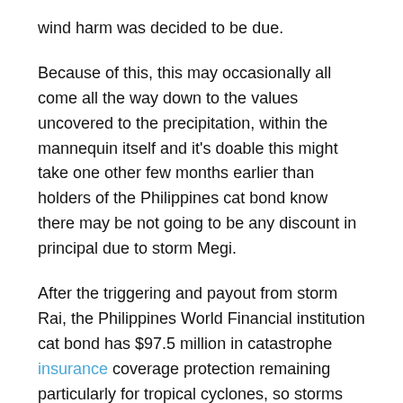wind harm was decided to be due.
Because of this, this may occasionally all come all the way down to the values uncovered to the precipitation, within the mannequin itself and it’s doable this might take one other few months earlier than holders of the Philippines cat bond know there may be not going to be any discount in principal due to storm Megi.
After the triggering and payout from storm Rai, the Philippines World Financial institution cat bond has $97.5 million in catastrophe insurance coverage protection remaining particularly for tropical cyclones, so storms and typhoons, from the Class B tranche of notes.
You possibly can learn all concerning the landmark Philippines disaster bond, the IBRD CAR 123-124 issuance